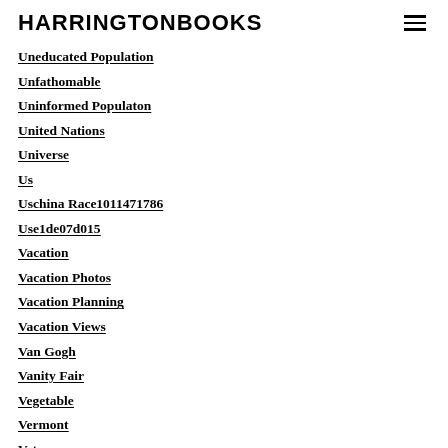HARRINGTONBOOKS
Uneducated Population
Unfathomable
Uninformed Populaton
United Nations
Universe
Us
Uschina Race1011471786
Use1de07d015
Vacation
Vacation Photos
Vacation Planning
Vacation Views
Van Gogh
Vanity Fair
Vegetable
Vermont
Veterans